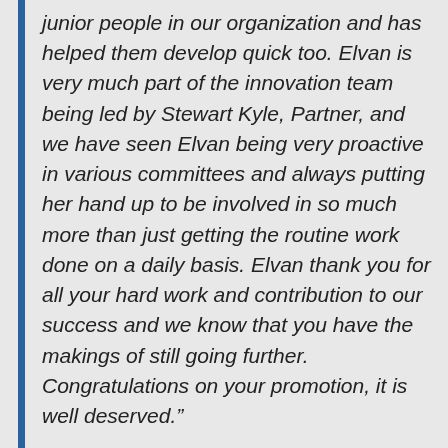junior people in our organization and has helped them develop quick too. Elvan is very much part of the innovation team being led by Stewart Kyle, Partner, and we have seen Elvan being very proactive in various committees and always putting her hand up to be involved in so much more than just getting the routine work done on a daily basis. Elvan thank you for all your hard work and contribution to our success and we know that you have the makings of still going further. Congratulations on your promotion, it is well deserved."